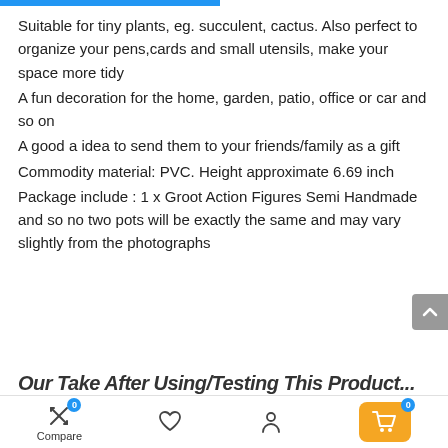Suitable for tiny plants, eg. succulent, cactus. Also perfect to organize your pens,cards and small utensils, make your space more tidy
A fun decoration for the home, garden, patio, office or car and so on
A good a idea to send them to your friends/family as a gift
Commodity material: PVC. Height approximate 6.69 inch
Package include : 1 x Groot Action Figures Semi Handmade and so no two pots will be exactly the same and may vary slightly from the photographs
Our Take After Using/Testing This Product...
Compare | (heart) | (person) | (cart 0)